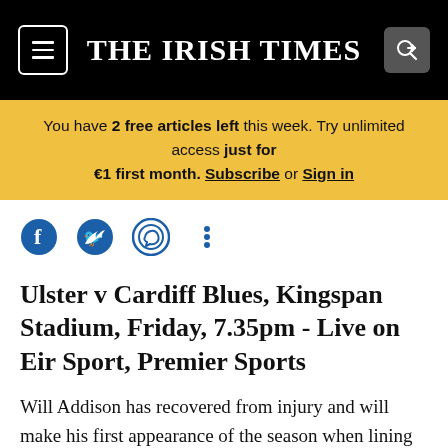THE IRISH TIMES
You have 2 free articles left this week. Try unlimited access just for €1 first month. Subscribe or Sign in
Ulster v Cardiff Blues, Kingspan Stadium, Friday, 7.35pm - Live on Eir Sport, Premier Sports
Will Addison has recovered from injury and will make his first appearance of the season when lining out at fullback for an Ulster side that shows five changes to the starting team that thumped the Southern Kings last time